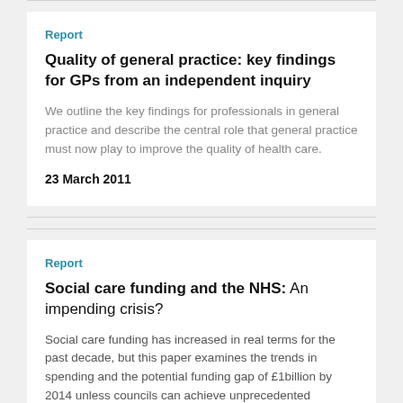Report
Quality of general practice: key findings for GPs from an independent inquiry
We outline the key findings for professionals in general practice and describe the central role that general practice must now play to improve the quality of health care.
23 March 2011
Report
Social care funding and the NHS: An impending crisis?
Social care funding has increased in real terms for the past decade, but this paper examines the trends in spending and the potential funding gap of £1billion by 2014 unless councils can achieve unprecedented efficiency savings.